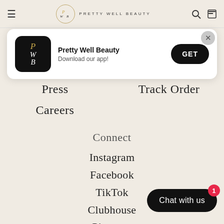Pretty Well Beauty
[Figure (screenshot): App install banner with Pretty Well Beauty logo, app name, 'Download our app!' subtitle, and a black GET button. A gray X close button is in the top right.]
Press
Track Order
Careers
Connect
Instagram
Facebook
TikTok
Clubhouse
Pinterest